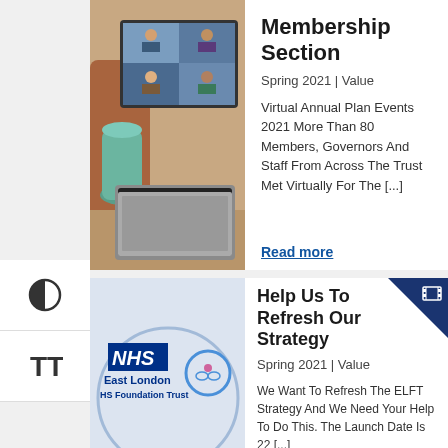[Figure (photo): Photo of a laptop showing a video call with multiple participants, placed on a table with a teal vase in the background]
Membership Section
Spring 2021 | Value
Virtual Annual Plan Events 2021 More Than 80 Members, Governors And Staff From Across The Trust Met Virtually For The [...]
Read more
[Figure (logo): NHS East London HS Foundation Trust logo with circular badge]
Help Us To Refresh Our Strategy
Spring 2021 | Value
We Want To Refresh The ELFT Strategy And We Need Your Help To Do This. The Launch Date Is 22 [...]
Read more